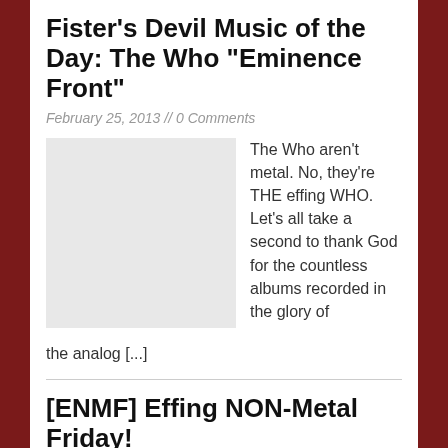Fister’s Devil Music of the Day: The Who “Eminence Front”
February 25, 2013 // 0 Comments
[Figure (photo): Thumbnail image placeholder (light grey rectangle)]
The Who aren’t metal. No, they’re THE effing WHO. Let’s all take a second to thank God for the countless albums recorded in the glory of the analog [...]
[ENMF] Effing NON-Metal Friday!
January 31, 2013 // 0 Comments
[Figure (photo): Thumbnail image placeholder (light grey rectangle)]
The last hour of stupid January is swooshing